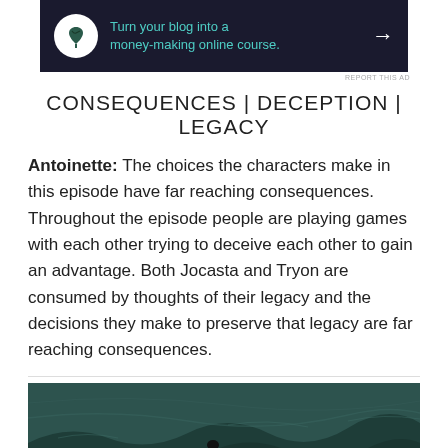[Figure (other): Dark advertisement banner: tree/bonsai icon on white circle, text 'Turn your blog into a money-making online course.' with arrow, on dark navy background]
REPORT THIS AD
CONSEQUENCES | DECEPTION | LEGACY
Antoinette: The choices the characters make in this episode have far reaching consequences. Throughout the episode people are playing games with each other trying to deceive each other to gain an advantage. Both Jocasta and Tryon are consumed by thoughts of their legacy and the decisions they make to preserve that legacy are far reaching consequences.
[Figure (photo): Outdoor scenic photo with dark teal/green tones showing a person on a hillside with dramatic landscape background]